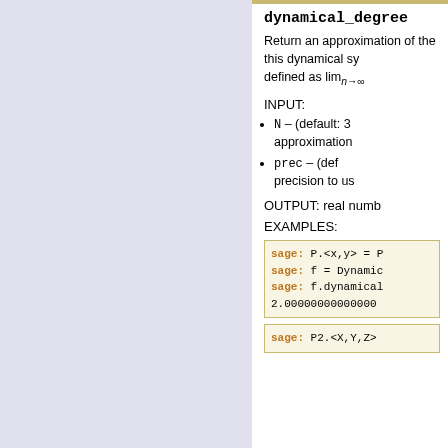dynamical_degree
Return an approximation of the dynamical degree of this dynamical system, defined as lim_{n→∞}
INPUT:
N – (default: 3) approximation
prec – (default: ...) precision to us
OUTPUT: real numb
EXAMPLES:
sage: P.<x,y> = P
sage: f = Dynamic
sage: f.dynamical
2.00000000000000
sage: P2.<X,Y,Z>